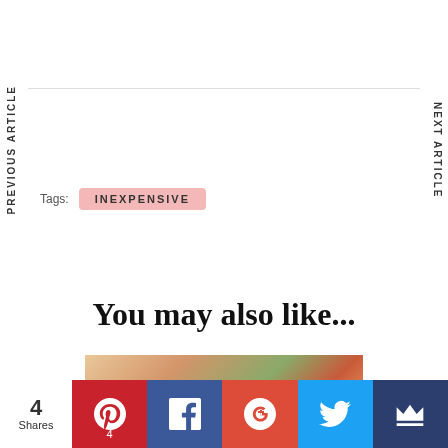Tags: INEXPENSIVE
You may also like...
[Figure (photo): Fashion article thumbnail showing a person in floral clothing]
4 Shares | Pinterest 4 | Facebook | Google+ | Twitter | Crown